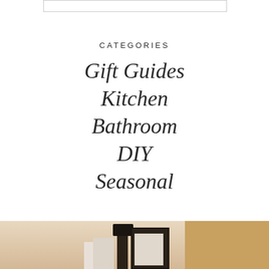[Figure (other): Decorative rectangular box outline at top of page]
CATEGORIES
Gift Guides
Kitchen
Bathroom
DIY
Seasonal
[Figure (photo): Partial view of a warm-toned interior scene with a dark lamp, stacked books, a framed artwork, and wood panel in the background]